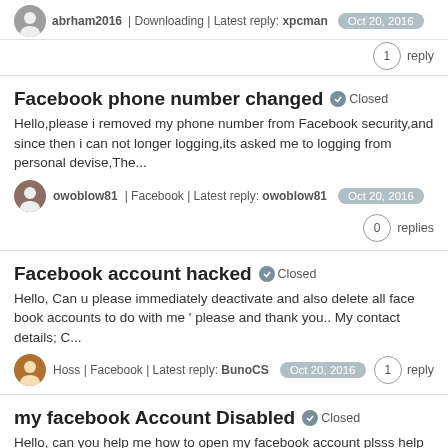abrham2016 | Downloading | Latest reply: xpcman  Oct 20, 2016  1 reply
Facebook phone number changed  Closed
Hello,please i removed my phone number from Facebook security,and since then i can not longer logging,its asked me to logging from personal devise,The...
owoblow81 | Facebook | Latest reply: owoblow81  Oct 20, 2016  0 replies
Facebook account hacked  Closed
Hello, Can u please immediately deactivate and also delete all face book accounts to do with me ' please and thank you.. My contact details; C...
Hoss | Facebook | Latest reply: BunoCS  Oct 20, 2016  1 reply
my facebook Account Disabled  Closed
Hello,  can you help me how to open my facebook account  plsss help me My facebook Name : Removed by moderator My Dete Of Birth : 10/08/1995 My...